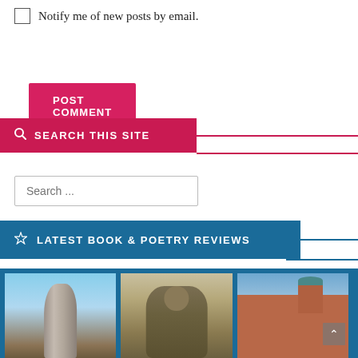Notify me of new posts by email.
POST COMMENT
SEARCH THIS SITE
Search ...
LATEST BOOK & POETRY REVIEWS
[Figure (photo): Three photos side by side: a tall standing stone sculpture against blue sky; a bronze figure sculpture holding something to its face; a red brick building with a clock tower.]